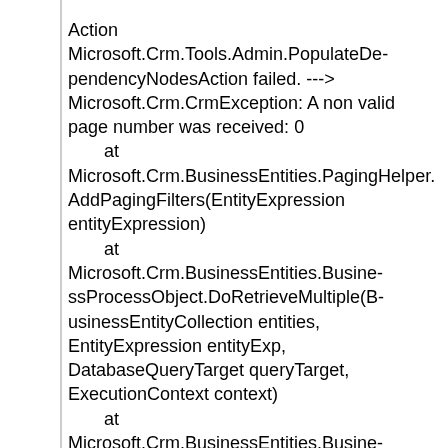Action Microsoft.Crm.Tools.Admin.PopulateDependencyNodesAction failed. ---> Microsoft.Crm.CrmException: A non valid page number was received: 0
   at Microsoft.Crm.BusinessEntities.PagingHelper.AddPagingFilters(EntityExpression entityExpression)
   at Microsoft.Crm.BusinessEntities.BusinessProcessObject.DoRetrieveMultiple(BusinessEntityCollection entities, EntityExpression entityExp, DatabaseQueryTarget queryTarget, ExecutionContext context)
   at Microsoft.Crm.BusinessEntities.BusinessProcessObject.RetrieveMultiple(EntityExpression entityExpression, DatabaseQueryTarget queryTarget, ExecutionContext context)
   at Microsoft.Crm.ObjectModel.DependencyNodeService.CreateDataNodes(Int32 componentType, ExecutionContext context)
   at Microsoft.Crm.ObjectModel.Dependen